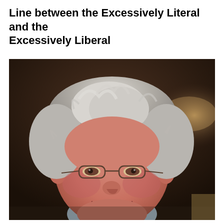Line between the Excessively Literal and the Excessively Liberal
[Figure (photo): Portrait photo of an older man with curly gray-white hair, wearing glasses, smiling warmly. The background is dark brown. He appears to be wearing a light blue shirt.]